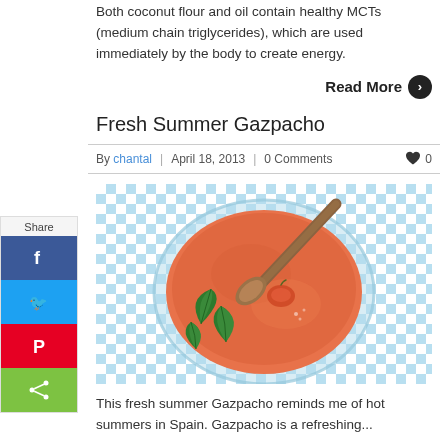Both coconut flour and oil contain healthy MCTs (medium chain triglycerides), which are used immediately by the body to create energy.
Read More ❯
Fresh Summer Gazpacho
By chantal | April 18, 2013 | 0 Comments ♥ 0
[Figure (photo): Top-down view of a bowl of gazpacho (orange-red tomato soup) with a wooden spoon, garnished with basil leaves and a small tomato, placed on a blue and white checkered tablecloth.]
This fresh summer Gazpacho reminds me of hot summers in Spain. Gazpacho is a refreshing...